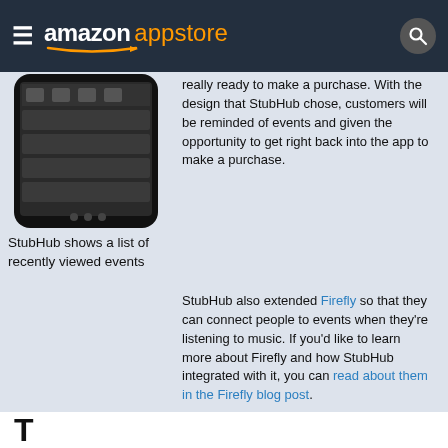amazon appstore
[Figure (screenshot): Screenshot of a smartphone showing a list of recently viewed events in the StubHub app]
StubHub shows a list of recently viewed events
really ready to make a purchase. With the design that StubHub chose, customers will be reminded of events and given the opportunity to get right back into the app to make a purchase.
StubHub also extended Firefly so that they can connect people to events when they're listening to music. If you'd like to learn more about Firefly and how StubHub integrated with it, you can read about them in the Firefly blog post.
T...